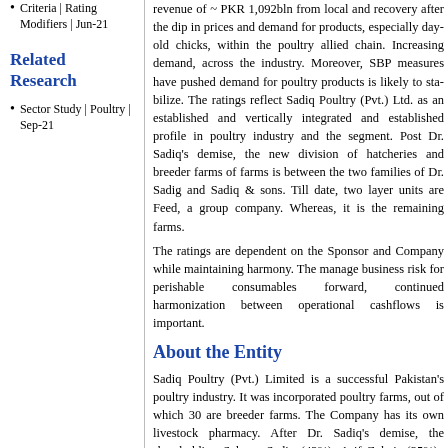Criteria | Rating Modifiers | Jun-21
Related Research
Sector Study | Poultry | Sep-21
revenue of ~ PKR 1,092bln from local a... recovery after the dip in prices and dema... products, especially day-old chicks, wit... poultry allied chain. Increasing demand, a... industry. Moreover, SBP measures have p... demand for poultry products is likely to st... The ratings reflect Sadiq Poultry (Pvt.) L... an established and vertically integrated... established profile in poultry industry an... segment. Post Dr. Sadiq's demise, the ne... division of hatcheries and breeder farms ... is between the two families of Dr. Sadig... Sadiq & sons. Till date, two layer units... Feed, a group company. Whereas, it is... remaining farms.
The ratings are dependent on the Spons... Company while maintaining harmony. T... manage business risk for perishable cons... forward, continued harmonization betwe... operational cashflows is important.
About the Entity
Sadiq Poultry (Pvt.) Limited is a successf... Pakistan's poultry industry. It was incorp... poultry farms, out of which 30 are breede... The Company has its own livestock pharm... After Dr. Sadiq's demise, the shareholdin... Salman Sadiq (42%), Asif Zubair (25%),... Ayesha Bilal (4%), Rasheeda Begum (3%...